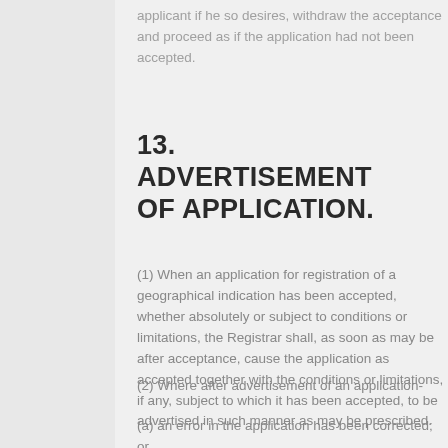applicant if he so desires, withdraw the acceptance and proceed as if the application had not been accepted.
13. ADVERTISEMENT OF APPLICATION.
(1) When an application for registration of a geographical indication has been accepted, whether absolutely or subject to conditions or limitations, the Registrar shall, as soon as may be after acceptance, cause the application as accepted together with the conditions or limitations, if any, subject to which it has been accepted, to be advertised in such manner as may be prescribed.
(2) Where after advertisement of an application-
(a) an error in the application has been corrected; or